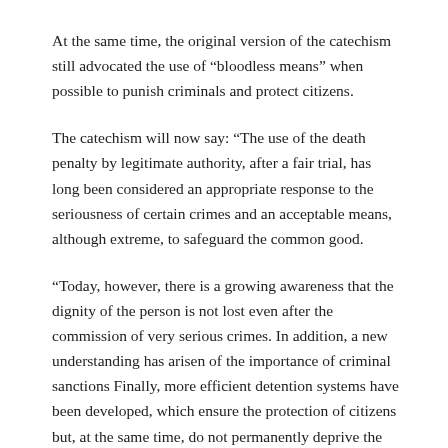At the same time, the original version of the catechism still advocated the use of “bloodless means” when possible to punish criminals and protect citizens.
The catechism will now say: “The use of the death penalty by legitimate authority, after a fair trial, has long been considered an appropriate response to the seriousness of certain crimes and an acceptable means, although extreme, to safeguard the common good.
“Today, however, there is a growing awareness that the dignity of the person is not lost even after the commission of very serious crimes. In addition, a new understanding has arisen of the importance of criminal sanctions Finally, more efficient detention systems have been developed, which ensure the protection of citizens but, at the same time, do not permanently deprive the guilty of the possibility of redemption”, continues the new section.